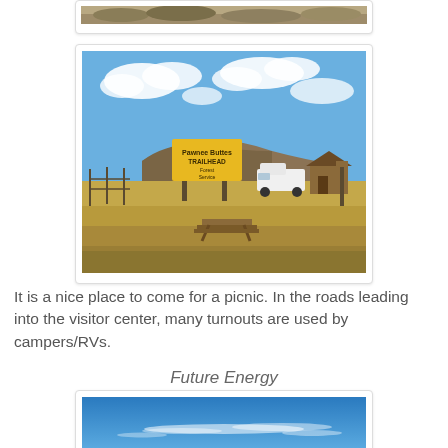[Figure (photo): Partial top of a landscape/nature photo, showing shrubby terrain, cut off at top of page]
[Figure (photo): Pawnee Buttes Trailhead sign in an open grassland prairie, with a brown hill in the background, a white truck and small building, under a blue sky with clouds, with a picnic bench in foreground]
It is a nice place to come for a picnic. In the roads leading into the visitor center, many turnouts are used by campers/RVs.
Future Energy
[Figure (photo): Bright blue sky with thin wispy white clouds, partial view at bottom of page]